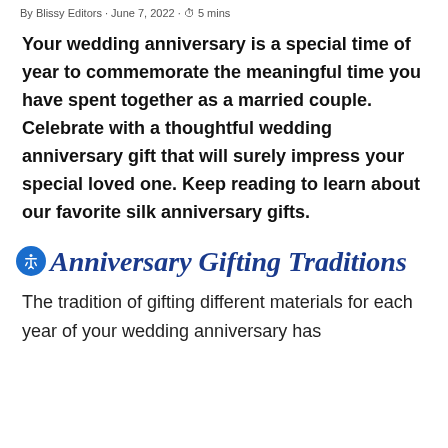By Blissy Editors · June 7, 2022 · ⏱ 5 mins
Your wedding anniversary is a special time of year to commemorate the meaningful time you have spent together as a married couple. Celebrate with a thoughtful wedding anniversary gift that will surely impress your special loved one. Keep reading to learn about our favorite silk anniversary gifts.
Anniversary Gifting Traditions
The tradition of gifting different materials for each year of your wedding anniversary has